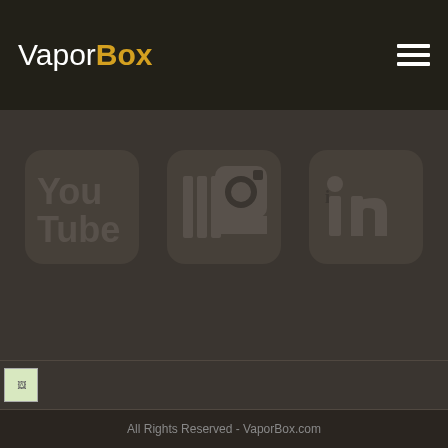VaporBox
[Figure (illustration): Social media icons: YouTube logo, Instagram logo, LinkedIn logo displayed as muted dark brownish icons on dark background]
[Figure (photo): Small thumbnail image at bottom of page, broken/loading image indicator]
All Rights Reserved - VaporBox.com